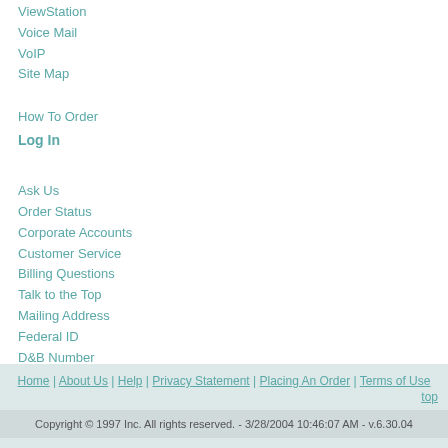ViewStation
Voice Mail
VoIP
Site Map
How To Order
Log In
Ask Us
Order Status
Corporate Accounts
Customer Service
Billing Questions
Talk to the Top
Mailing Address
Federal ID
D&B Number
Federal Cage Code
Telephone Network Sites
Home | About Us | Help | Privacy Statement | Placing An Order | Terms of Use
top
Copyright © 1997 Inc. All rights reserved. - 3/28/2004 10:46:07 AM - v.6.30.04